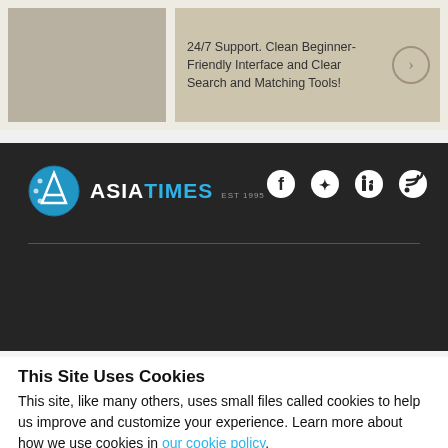[Figure (screenshot): Advertisement banner with tan/beige background showing text: 24/7 Support. Clean Beginner-Friendly Interface and Clear Search and Matching Tools! with a circular arrow button.]
[Figure (logo): Asia Times logo in the dark footer: circular blue logo icon, ASIA in white bold text, TIMES in blue bold text, EST 1995 in small grey text. Social media icons for Facebook, Twitter, LinkedIn, RSS on the right.]
This Site Uses Cookies
This site, like many others, uses small files called cookies to help us improve and customize your experience. Learn more about how we use cookies in our cookie policy.
Learn more about cookies
OK